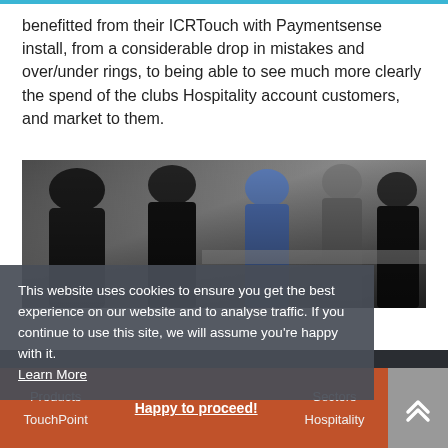benefitted from their ICRTouch with Paymentsense install, from a considerable drop in mistakes and over/under rings, to being able to see much more clearly the spend of the clubs Hospitality account customers, and market to them.
[Figure (photo): Crowd of people at a bar or food service counter, with a server in black on the right side helping customers.]
This website uses cookies to ensure you get the best experience on our website and to analyse traffic. If you continue to use this site, we will assume you're happy with it. Learn More
Products | Sectors | Happy to proceed! | TouchPoint | Hospitality